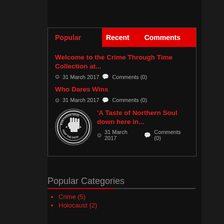Popular | Recent | Comments
Welcome to the Crime Through Time Collection at...
31 March 2017  Comments (0)
Who Dares Wins
31 March 2017  Comments (0)
[Figure (logo): Northern Soul Keep the Faith circular logo with raised fist]
'A Taste of Northern Soul down here in...
31 March 2017  Comments (0)
Popular Categories
Crime (5)
Holocaust (2)